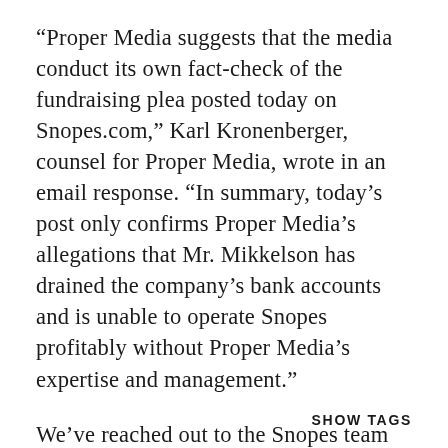“Proper Media suggests that the media conduct its own fact-check of the fundraising plea posted today on Snopes.com,” Karl Kronenberger, counsel for Proper Media, wrote in an email response. “In summary, today’s post only confirms Proper Media’s allegations that Mr. Mikkelson has drained the company’s bank accounts and is unable to operate Snopes profitably without Proper Media’s expertise and management.”
We’ve reached out to the Snopes team for comment and will update the post when we hear back.
SHOW TAGS